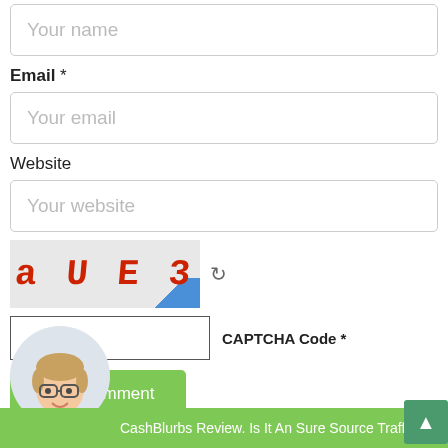[Figure (screenshot): Form input field with placeholder 'Your name']
Email *
[Figure (screenshot): Form input field with placeholder 'Your email']
Website
[Figure (screenshot): Form input field with placeholder 'Your website']
[Figure (screenshot): CAPTCHA image showing 'a U E 3' in red bold text on gray background with refresh icon]
[Figure (screenshot): CAPTCHA code input field with label 'CAPTCHA Code *']
[Figure (screenshot): Green 'Post Comment' button]
[Figure (illustration): Avatar illustration of a person with glasses and blue shirt in a circular frame]
CashBlurbs Review. Is It An Sure Source Traffic?